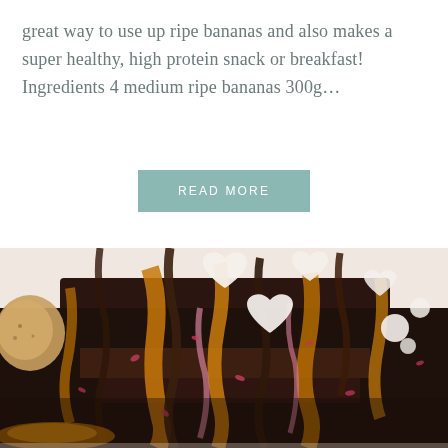great way to use up ripe bananas and also makes a super healthy, high protein snack or breakfast! Ingredients 4 medium ripe bananas 300g...
READ MORE
[Figure (photo): Close-up photograph of a rich chocolate cake or brownie stack drizzled with chocolate sauce, caramel sauce, pink/rose drizzle, decorated with white heart-shaped candies and pink dried flower petals, on a white surface.]